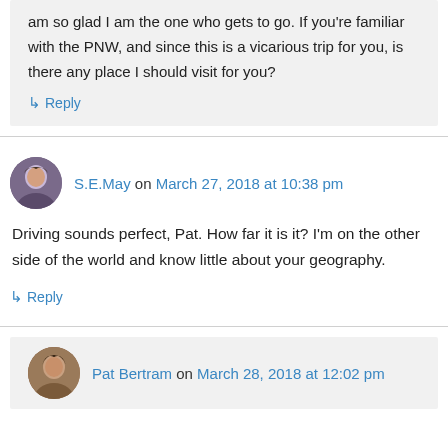am so glad I am the one who gets to go. If you're familiar with the PNW, and since this is a vicarious trip for you, is there any place I should visit for you?
↳ Reply
S.E.May on March 27, 2018 at 10:38 pm
Driving sounds perfect, Pat. How far it is it? I'm on the other side of the world and know little about your geography.
↳ Reply
Pat Bertram on March 28, 2018 at 12:02 pm